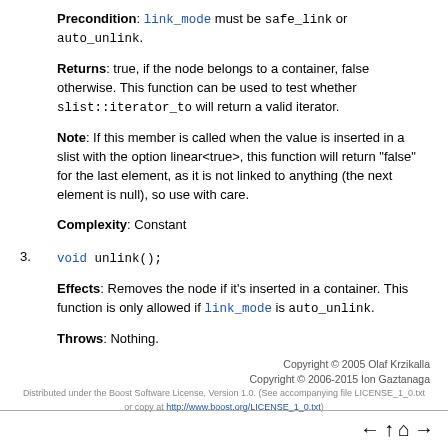Precondition: link_mode must be safe_link or auto_unlink.
Returns: true, if the node belongs to a container, false otherwise. This function can be used to test whether slist::iterator_to will return a valid iterator.
Note: If this member is called when the value is inserted in a slist with the option linear<true>, this function will return "false" for the last element, as it is not linked to anything (the next element is null), so use with care.
Complexity: Constant
3. void unlink();
Effects: Removes the node if it's inserted in a container. This function is only allowed if link_mode is auto_unlink.
Throws: Nothing.
Copyright © 2005 Olaf Krzikalla
Copyright © 2006-2015 Ion Gaztanaga
Distributed under the Boost Software License, Version 1.0. (See accompanying file LICENSE_1_0.txt or copy at http://www.boost.org/LICENSE_1_0.txt)